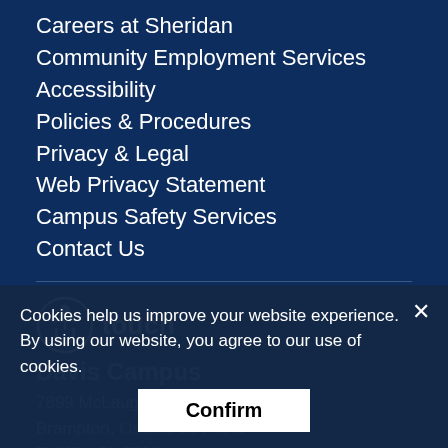Careers at Sheridan
Community Employment Services
Accessibility
Policies & Procedures
Privacy & Legal
Web Privacy Statement
Campus Safety Services
Contact Us
touch
Davis Campus
7899 McLaughlin Road
Brampton, Ontario L6Y 5H9
T: 905-459-7533
Davis Campus Map
Hazel McCallion Campus
Cookies help us improve your website experience.
By using our website, you agree to our use of cookies.
Confirm